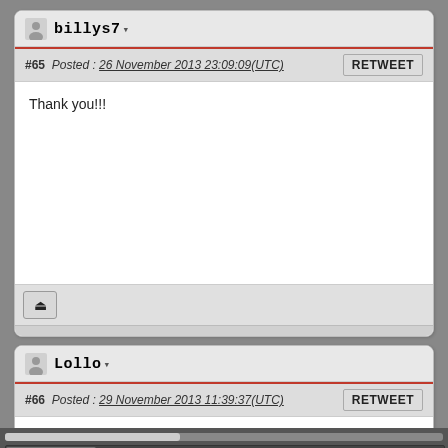billys7 — #65 Posted : 26 November 2013 23:09:09(UTC) — Thank you!!!
Lollo — #66 Posted : 29 November 2013 11:39:37(UTC) — Hi all, I finally have the din plug, and soldered cable to mini-din & D-Sub. As I had already prepared everything else, I just had to connect